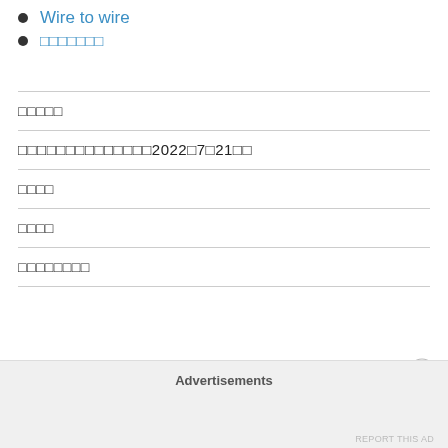Wire to wire
□□□□□□□
□□□□□
□□□□□□□□□□□□□□2022□7□21□□
□□□□
□□□□
□□□□□□□□
Advertisements